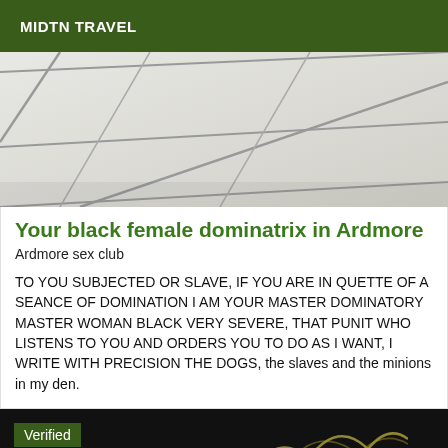MIDTN TRAVEL
[Figure (photo): Close-up photo of white/light grey ceramic floor tiles with grey grout lines visible in a cross pattern]
Your black female dominatrix in Ardmore
Ardmore sex club
TO YOU SUBJECTED OR SLAVE, IF YOU ARE IN QUETTE OF A SEANCE OF DOMINATION I AM YOUR MASTER DOMINATORY MASTER WOMAN BLACK VERY SEVERE, THAT PUNIT WHO LISTENS TO YOU AND ORDERS YOU TO DO AS I WANT, I WRITE WITH PRECISION THE DOGS, the slaves and the minions in my den.
Verified